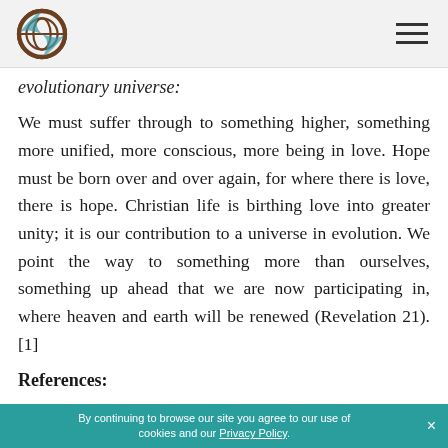evolutionary universe:
We must suffer through to something higher, something more unified, more conscious, more being in love. Hope must be born over and over again, for where there is love, there is hope. Christian life is birthing love into greater unity; it is our contribution to a universe in evolution. We point the way to something more than ourselves, something up ahead that we are now participating in, where heaven and earth will be renewed (Revelation 21). [1]
References:
By continuing to browse our site you agree to our use of cookies and our Privacy Policy. ×